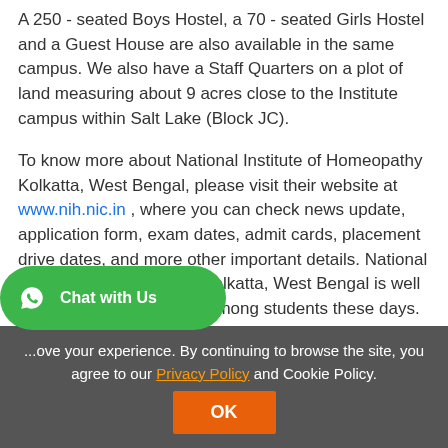A 250 - seated Boys Hostel, a 70 - seated Girls Hostel and a Guest House are also available in the same campus. We also have a Staff Quarters on a plot of land measuring about 9 acres close to the Institute campus within Salt Lake (Block JC).
To know more about National Institute of Homeopathy Kolkatta, West Bengal, please visit their website at www.nih.nic.in , where you can check news update, application form, exam dates, admit cards, placement drive dates, and more other important details. National Institute of Homeopathy Kolkatta, West Bengal is well known college/university among students these days.
Faculty
...ove your experience. By continuing to browse the site, you agree to our Privacy Policy and Cookie Policy.